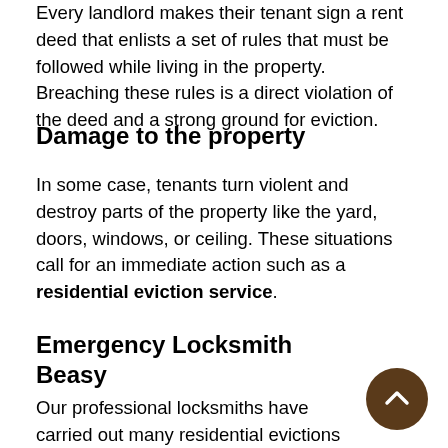Every landlord makes their tenant sign a rent deed that enlists a set of rules that must be followed while living in the property. Breaching these rules is a direct violation of the deed and a strong ground for eviction.
Damage to the property
In some case, tenants turn violent and destroy parts of the property like the yard, doors, windows, or ceiling. These situations call for an immediate action such as a residential eviction service.
Emergency Locksmith
Emergency Locksmith Burbank easy
Burbank Burbank, CA 818-746-9037
Our professional locksmiths have carried out many residential evictions in Burbank, CA over the years and leave no stone unturned in providing a hassle-free service. We could either rekey your locks or